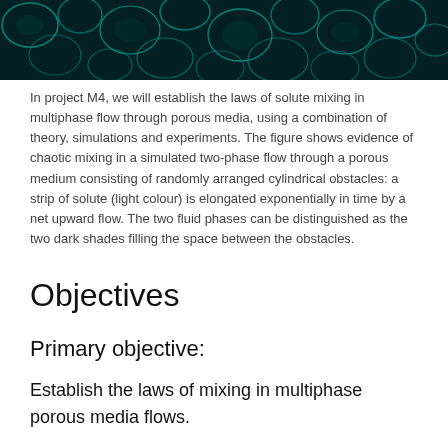[Figure (photo): A microscopy or simulation image showing chaotic mixing in a two-phase flow through a porous medium with randomly arranged cylindrical obstacles. The image has a dark teal/cyan color palette with glowing cell-like structures.]
In project M4, we will establish the laws of solute mixing in multiphase flow through porous media, using a combination of theory, simulations and experiments. The figure shows evidence of chaotic mixing in a simulated two-phase flow through a porous medium consisting of randomly arranged cylindrical obstacles: a strip of solute (light colour) is elongated exponentially in time by a net upward flow. The two fluid phases can be distinguished as the two dark shades filling the space between the obstacles.
Objectives
Primary objective:
Establish the laws of mixing in multiphase porous media flows.